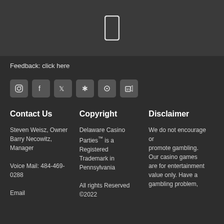[Figure (illustration): Mobile phone icon in top bar]
Feedback: click here
[Figure (illustration): Social media icons: Instagram, Facebook, Twitter, Yelp, Pinterest, LinkedIn]
Contact Us
Copyright
Disclaimer
Steven Weisz, Owner
Barry Necowitz, Manager

Voice Mail: 484-469-0288

Email
Delaware Casino Parties™ is a Registered Trademark in Pennsylvania

All rights Reserved ©2022
We do not encourage or promote gambling. Our casino games are for entertainment value only. Have a gambling problem,